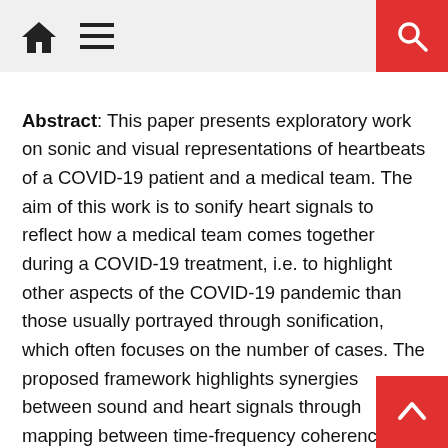[Navigation bar with home icon, menu icon, and search button]
Abstract: This paper presents exploratory work on sonic and visual representations of heartbeats of a COVID-19 patient and a medical team. The aim of this work is to sonify heart signals to reflect how a medical team comes together during a COVID-19 treatment, i.e. to highlight other aspects of the COVID-19 pandemic than those usually portrayed through sonification, which often focuses on the number of cases. The proposed framework highlights synergies between sound and heart signals through mapping between time-frequency coherence (TFC) of heart signals and harmonic tension and dissonance in music. Results from a listening experiment suggested that the proposed mapping between TFC and harmonic tension was successful in terms of communicating low versus high coherence between heart signals, with an overall accuracy of 69%, which was significantly higher than chance. In the light of the performed work, we discuss how links between heart- and sound signals can be further explored through sonification